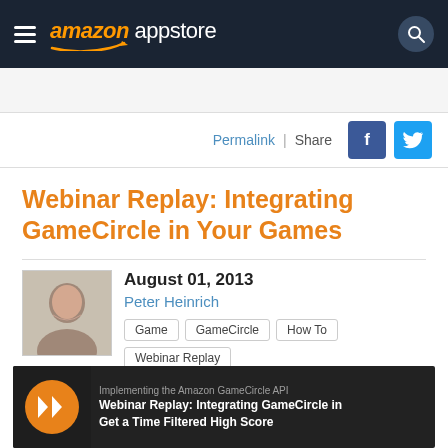amazon appstore
Permalink | Share
Webinar Replay: Integrating GameCircle in Your Games
August 01, 2013 Peter Heinrich
Game
GameCircle
How To
Webinar Replay
[Figure (screenshot): Video thumbnail showing Webinar Replay: Integrating GameCircle in Your Games with a play button and the subtitle Get a Time Filtered High Score]